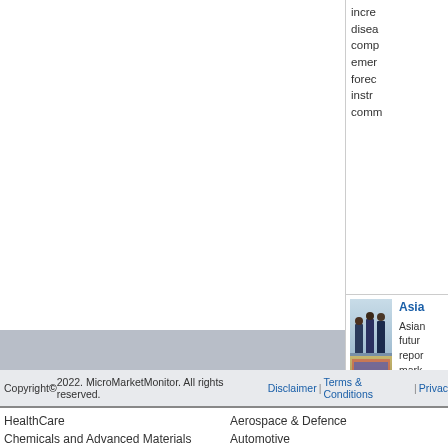incre... disea... comp... emer... forec... instr... comm...
[Figure (photo): Business professionals standing and discussing in a modern office/lobby setting, with marketing or data materials visible on the table.]
Asia
Asian... futur... repor... mark... appli...
20 ▾
Copyright © 2022. MicroMarketMonitor. All rights reserved. Disclaimer | Terms & Conditions | Privac...
HealthCare
Chemicals and Advanced Materials
Aerospace & Defence
Automotive